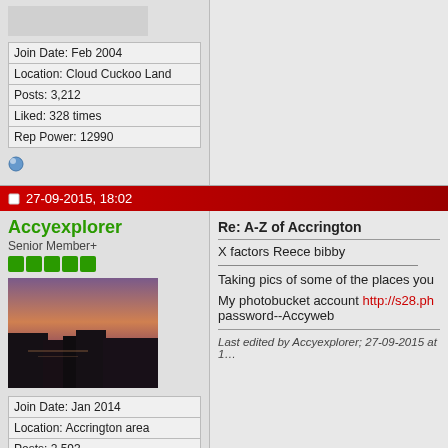| Join Date: Feb 2004 |
| Location: Cloud Cuckoo Land |
| Posts: 3,212 |
| Liked: 328 times |
| Rep Power: 12990 |
27-09-2015, 18:02
Accyexplorer
Senior Member+
[Figure (photo): Landscape photo with dark silhouettes and purple/orange sky at dusk, reflected in water]
| Join Date: Jan 2014 |
| Location: Accrington area |
| Posts: 2,593 |
| Liked: 1795 times |
Re: A-Z of Accrington
X factors Reece bibby
Taking pics of some of the places you
My photobucket account http://s28.ph password--Accyweb
Last edited by Accyexplorer; 27-09-2015 at 18: